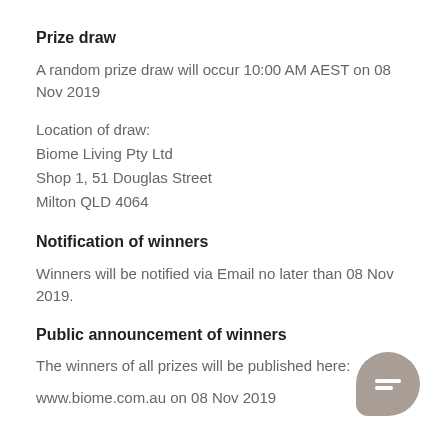Prize draw
A random prize draw will occur 10:00 AM AEST on 08 Nov 2019
Location of draw:
Biome Living Pty Ltd
Shop 1, 51 Douglas Street
Milton QLD 4064
Notification of winners
Winners will be notified via Email no later than 08 Nov 2019.
Public announcement of winners
The winners of all prizes will be published here:
www.biome.com.au on 08 Nov 2019